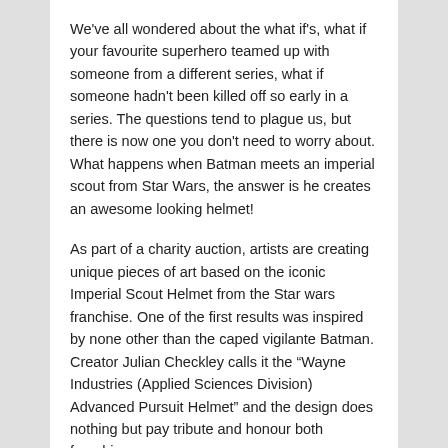We've all wondered about the what if's, what if your favourite superhero teamed up with someone from a different series, what if someone hadn't been killed off so early in a series. The questions tend to plague us, but there is now one you don't need to worry about. What happens when Batman meets an imperial scout from Star Wars, the answer is he creates an awesome looking helmet!
As part of a charity auction, artists are creating unique pieces of art based on the iconic Imperial Scout Helmet from the Star wars franchise. One of the first results was inspired by none other than the caped vigilante Batman. Creator Julian Checkley calls it the “Wayne Industries (Applied Sciences Division) Advanced Pursuit Helmet” and the design does nothing but pay tribute and honour both franchises.
With the piece set to be one of forty auctioned off in July this year, the proceeds of which will go towards the charity Star Wars: Forces Of Change. The charity is a global